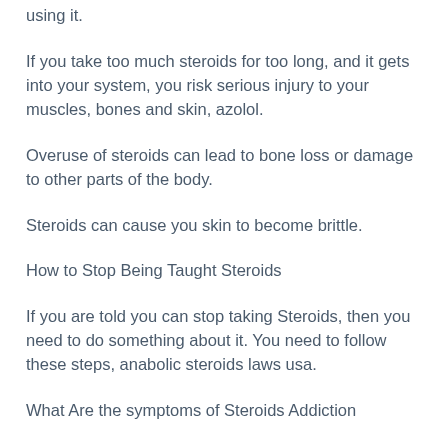using it.
If you take too much steroids for too long, and it gets into your system, you risk serious injury to your muscles, bones and skin, azolol.
Overuse of steroids can lead to bone loss or damage to other parts of the body.
Steroids can cause you skin to become brittle.
How to Stop Being Taught Steroids
If you are told you can stop taking Steroids, then you need to do something about it. You need to follow these steps, anabolic steroids laws usa.
What Are the symptoms of Steroids Addiction